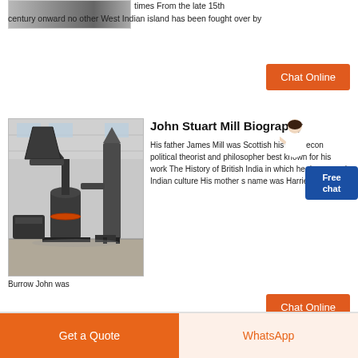[Figure (photo): Partial image at top left, appears to be an industrial or outdoor scene (cropped)]
times From the late 15th century onward no other West Indian island has been fought over by
[Figure (other): Orange 'Chat Online' button]
[Figure (photo): Industrial mill/grinding machine in a factory warehouse setting]
Burrow John was
John Stuart Mill Biography
His father James Mill was Scottish historian econ political theorist and philosopher best known for his work The History of British India in which he denounced Indian culture His mother s name was Harriet
[Figure (other): Blue 'Free chat' badge/widget]
[Figure (other): Orange 'Chat Online' button]
[Figure (other): Orange 'Get a Quote' button]
[Figure (other): WhatsApp button (light orange background)]